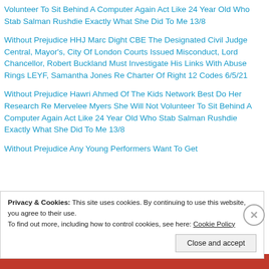Volunteer To Sit Behind A Computer Again Act Like 24 Year Old Who Stab Salman Rushdie Exactly What She Did To Me 13/8
Without Prejudice HHJ Marc Dight CBE The Designated Civil Judge Central, Mayor's, City Of London Courts Issued Misconduct, Lord Chancellor, Robert Buckland Must Investigate His Links With Abuse Rings LEYF, Samantha Jones Re Charter Of Right 12 Codes 6/5/21
Without Prejudice Hawri Ahmed Of The Kids Network Best Do Her Research Re Mervelee Myers She Will Not Volunteer To Sit Behind A Computer Again Act Like 24 Year Old Who Stab Salman Rushdie Exactly What She Did To Me 13/8
Without Prejudice Any Young Performers Want To Get
Privacy & Cookies: This site uses cookies. By continuing to use this website, you agree to their use.
To find out more, including how to control cookies, see here: Cookie Policy